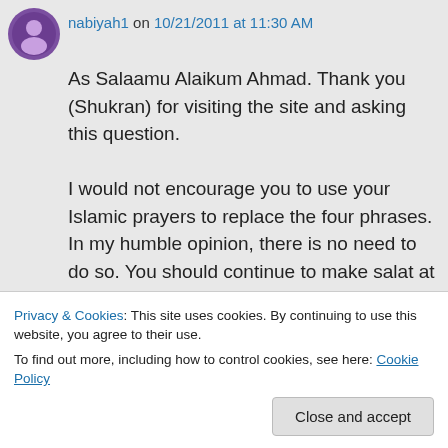nabiyah1 on 10/21/2011 at 11:30 AM
As Salaamu Alaikum Ahmad. Thank you (Shukran) for visiting the site and asking this question.

I would not encourage you to use your Islamic prayers to replace the four phrases. In my humble opinion, there is no need to do so. You should continue to make salat at your allotted times and pray faithfully as it has been written each day. Ho'oponopono
clear that they do not require modification.
Privacy & Cookies: This site uses cookies. By continuing to use this website, you agree to their use.
To find out more, including how to control cookies, see here: Cookie Policy
Close and accept